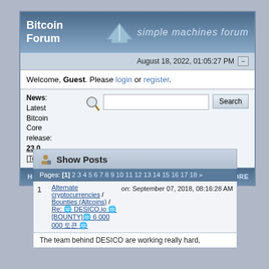Bitcoin Forum — simple machines forum
August 18, 2022, 01:05:27 PM
Welcome, Guest. Please login or register.
News: Latest Bitcoin Core release: 23.0 [Torrent]
Show Posts
Pages: [1] 2 3 4 5 6 7 8 9 10 11 12 13 14 15 16 17 18 »
1 — Alternate cryptocurrencies / Bounties (Altcoins) / Re: 🌐 DESICO.io 🌐[BOUNTY]🌐 6 000 000 토큰 🌐 — on: September 07, 2018, 08:16:28 AM
The team behind DESICO are working really hard,